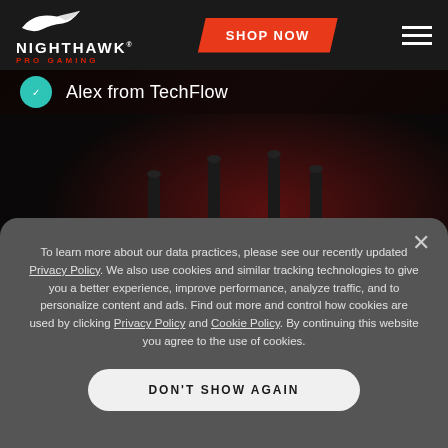[Figure (logo): Nighthawk Pro Gaming logo with bird/hawk icon and text]
SHOP NOW
Alex from TechFlow
[Figure (photo): Dark gaming router with multiple antennas on dark background]
To learn more about our data practices, please see our recently updated Privacy Policy. We also use cookies and similar tracking technologies to give you a better experience, improve performance, analyze traffic, and to personalize content and ads. Find out more and control how cookies are used by clicking Privacy Policy and Cookie Policy. By continuing this website you agree to the use of cookies.
DON'T SHOW AGAIN